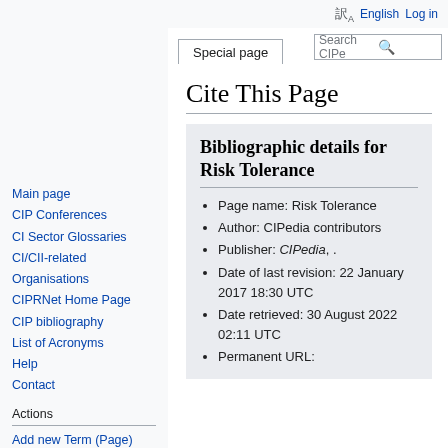English  Log in
Special page
Cite This Page
Main page
CIP Conferences
CI Sector Glossaries
CI/CII-related Organisations
CIPRNet Home Page
CIP bibliography
List of Acronyms
Help
Contact
Actions
Add new Term (Page)
Random page
Bibliographic details for Risk Tolerance
Page name: Risk Tolerance
Author: CIPedia contributors
Publisher: CIPedia, .
Date of last revision: 22 January 2017 18:30 UTC
Date retrieved: 30 August 2022 02:11 UTC
Permanent URL: